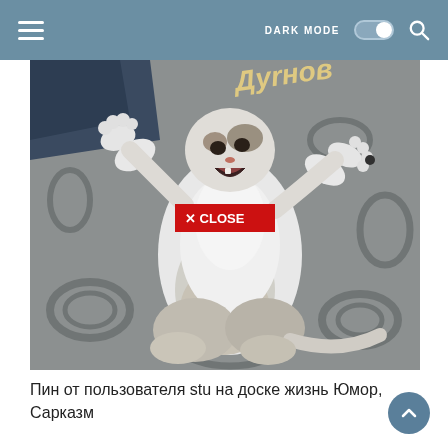DARK MODE [toggle] [search]
[Figure (photo): A white and grey cat lying on its back on a grey patterned carpet with its paws raised up in the air, mouth open. A red CLOSE button overlay is visible in the center of the image. Partial text visible at top of image.]
Пин от пользователя stu на доске жизнь Юмор, Сарказм